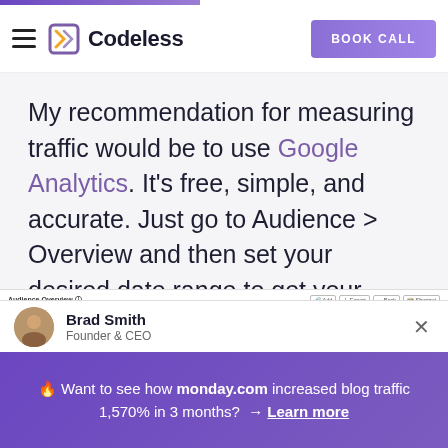Codeless | BOOK CALL
My recommendation for measuring traffic would be to use Google Analytics. It's free, simple, and accurate. Just go to Audience > Overview and then set your desired date range to get your unique visitor stats.
[Figure (screenshot): Screenshot of Google Analytics Audience Overview dashboard showing metrics and date range]
Brad Smith
Founder & CEO
🔥 Want to see how monday.com increased blog traffic 1,570% in 3 months? → Learn more